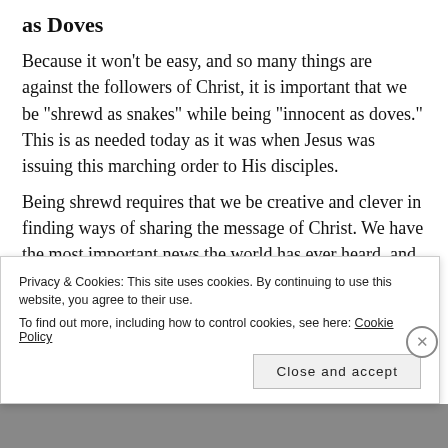as Doves
Because it won’t be easy, and so many things are against the followers of Christ, it is important that we be “shrewd as snakes” while being “innocent as doves.” This is as needed today as it was when Jesus was issuing this marching order to His disciples.
Being shrewd requires that we be creative and clever in finding ways of sharing the message of Christ. We have the most important news the world has ever heard, and the world desperately needs this news. Even though the message is thousands of years old,
Privacy & Cookies: This site uses cookies. By continuing to use this website, you agree to their use.
To find out more, including how to control cookies, see here: Cookie Policy
Close and accept